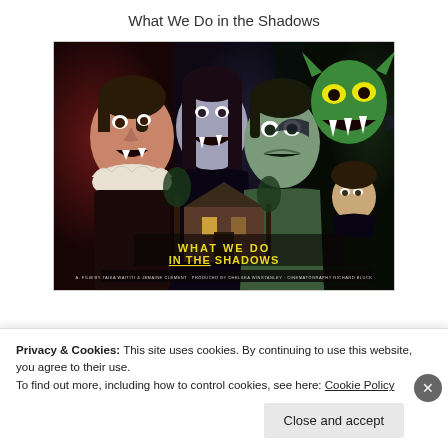What We Do in the Shadows
[Figure (illustration): Movie poster for 'What We Do in the Shadows' showing stylized horror vampire characters in a dramatic illustrated artwork with the film title in yellow/green text at the bottom]
Privacy & Cookies: This site uses cookies. By continuing to use this website, you agree to their use.
To find out more, including how to control cookies, see here: Cookie Policy
Close and accept